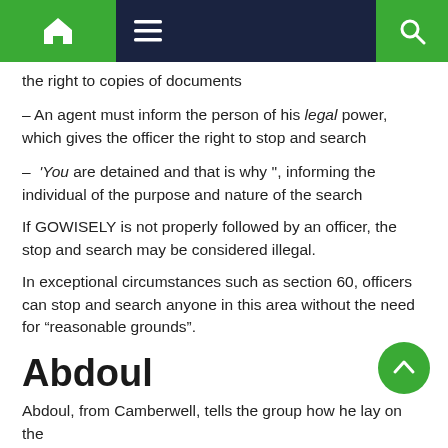Navigation bar with home, menu, and search icons
the right to copies of documents
– An agent must inform the person of his legal power, which gives the officer the right to stop and search
– 'You are detained and that is why '', informing the individual of the purpose and nature of the search
If GOWISELY is not properly followed by an officer, the stop and search may be considered illegal.
In exceptional circumstances such as section 60, officers can stop and search anyone in this area without the need for “reasonable grounds”.
Abdoul
Abdoul, from Camberwell, tells the group how he lay on the